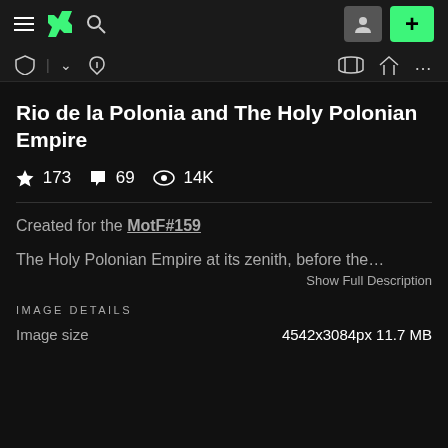DeviantArt navigation header with hamburger menu, DA logo, search icon, profile button, and add button
Toolbar with watch, follow, and other action icons
Rio de la Polonia and The Holy Polonian Empire
173 stars  69 comments  14K views
Created for the MotF#159
The Holy Polonian Empire at its zenith, before the...
Show Full Description
IMAGE DETAILS
Image size   4542x3084px 11.7 MB